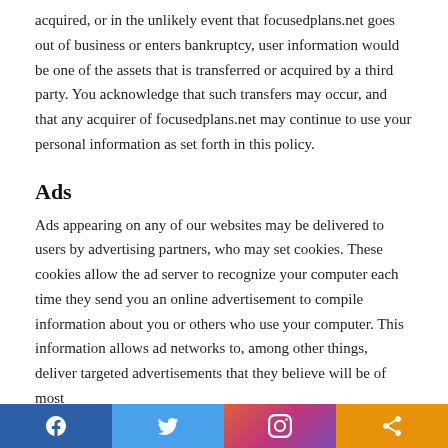acquired, or in the unlikely event that focusedplans.net goes out of business or enters bankruptcy, user information would be one of the assets that is transferred or acquired by a third party. You acknowledge that such transfers may occur, and that any acquirer of focusedplans.net may continue to use your personal information as set forth in this policy.
Ads
Ads appearing on any of our websites may be delivered to users by advertising partners, who may set cookies. These cookies allow the ad server to recognize your computer each time they send you an online advertisement to compile information about you or others who use your computer. This information allows ad networks to, among other things, deliver targeted advertisements that they believe will be of most